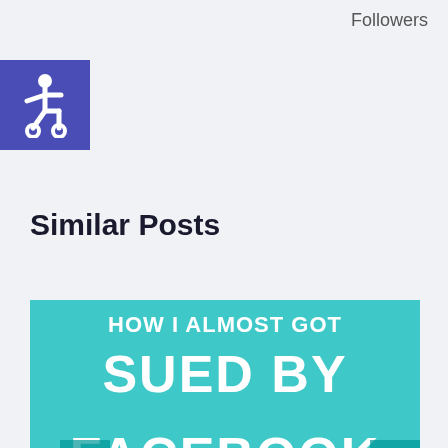Followers
[Figure (illustration): Accessibility icon - white wheelchair user symbol on blue/indigo square background]
Similar Posts
[Figure (infographic): Teal/turquoise card with white bold text reading: HOW I ALMOST GOT SUED BY FACEBOOK FOR... with left and right navigation arrows at the bottom]